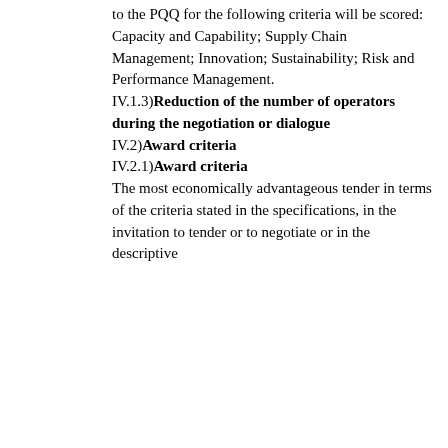to the PQQ for the following criteria will be scored: Capacity and Capability; Supply Chain Management; Innovation; Sustainability; Risk and Performance Management.
IV.1.3)Reduction of the number of operators during the negotiation or dialogue
IV.2)Award criteria
IV.2.1)Award criteria
The most economically advantageous tender in terms of the criteria stated in the specifications, in the invitation to tender or to negotiate or in the descriptive